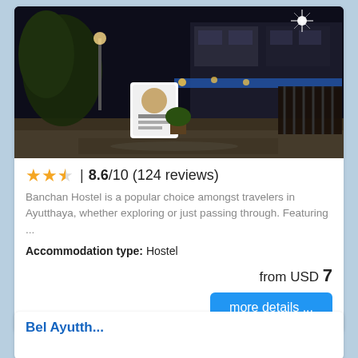[Figure (photo): Night photo of Banchan Hostel exterior with illuminated sign, trees, building facade with awning, and fence in background]
★★½ | 8.6/10 (124 reviews)
Banchan Hostel is a popular choice amongst travelers in Ayutthaya, whether exploring or just passing through. Featuring ...
Accommodation type: Hostel
from USD 7
more details ...
Bel Ayutth...